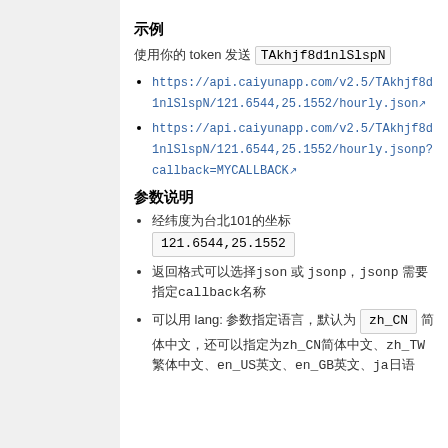示例
使用你的 token 发送 TAkhjf8d1nlSlspN
https://api.caiyunapp.com/v2.5/TAkhjf8d1nlSlspN/121.6544,25.1552/hourly.json
https://api.caiyunapp.com/v2.5/TAkhjf8d1nlSlspN/121.6544,25.1552/hourly.jsonp?callback=MYCALLBACK
参数说明
经纬度为台北101的坐标 121.6544,25.1552
返回格式可以选择json 或 jsonp，jsonp 需要指定callback名称
可以用 lang: 参数指定语言，默认为 zh_CN 简体中文，还可以指定为zh_CN简体中文、zh_TW繁体中文、en_US英文、en_GB英文、ja日语